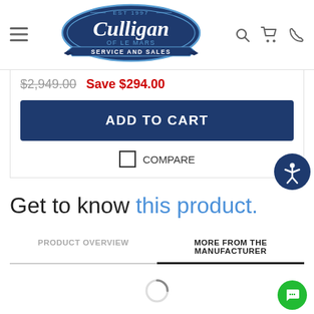[Figure (logo): Culligan of Le Mars Service and Sales logo — dark blue oval with script Culligan text, EST 1997, ribbon banner at bottom]
$2,949.00  Save $294.00
ADD TO CART
COMPARE
Get to know this product.
PRODUCT OVERVIEW
MORE FROM THE MANUFACTURER